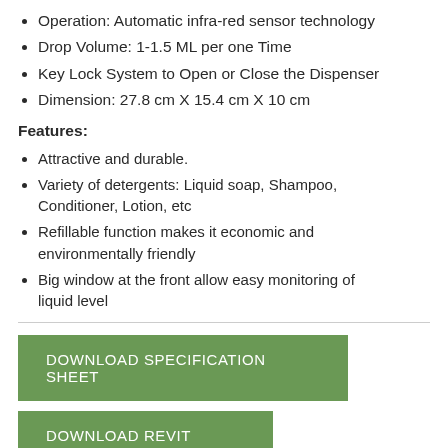Operation:  Automatic infra-red sensor technology
Drop Volume: 1-1.5 ML per one Time
Key Lock System to Open or Close the Dispenser
Dimension: 27.8 cm X 15.4 cm X 10 cm
Features:
Attractive and durable.
Variety of detergents: Liquid soap, Shampoo, Conditioner, Lotion, etc
Refillable function makes it economic and environmentally friendly
Big window at the front allow easy monitoring of liquid level
DOWNLOAD SPECIFICATION SHEET
DOWNLOAD REVIT FAMILIES